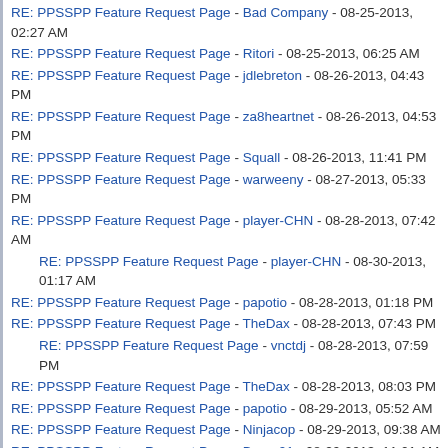RE: PPSSPP Feature Request Page - Bad Company - 08-25-2013, 02:27 AM
RE: PPSSPP Feature Request Page - Ritori - 08-25-2013, 06:25 AM
RE: PPSSPP Feature Request Page - jdlebreton - 08-26-2013, 04:43 PM
RE: PPSSPP Feature Request Page - za8heartnet - 08-26-2013, 04:53 PM
RE: PPSSPP Feature Request Page - Squall - 08-26-2013, 11:41 PM
RE: PPSSPP Feature Request Page - warweeny - 08-27-2013, 05:33 PM
RE: PPSSPP Feature Request Page - player-CHN - 08-28-2013, 07:42 AM
RE: PPSSPP Feature Request Page - player-CHN - 08-30-2013, 01:17 AM (indented)
RE: PPSSPP Feature Request Page - papotio - 08-28-2013, 01:18 PM
RE: PPSSPP Feature Request Page - TheDax - 08-28-2013, 07:43 PM
RE: PPSSPP Feature Request Page - vnctdj - 08-28-2013, 07:59 PM (indented)
RE: PPSSPP Feature Request Page - TheDax - 08-28-2013, 08:03 PM
RE: PPSSPP Feature Request Page - papotio - 08-29-2013, 05:52 AM
RE: PPSSPP Feature Request Page - Ninjacop - 08-29-2013, 09:38 AM
RE: PPSSPP Feature Request Page - Burna91 - 08-29-2013, 11:01 AM
RE: PPSSPP Feature Request Page - arg274 - 08-29-2013, 02:26 PM
RE: PPSSPP Feature Request Page - vnctdj - 08-29-2013, 02:44 PM (indented)
RE: PPSSPP Feature Request Page - Burna91 - 08-29-2013, 03:08 PM
RE: PPSSPP Feature Request Page - vnctdj - 08-29-2013, 03:42 PM (indented, partial)